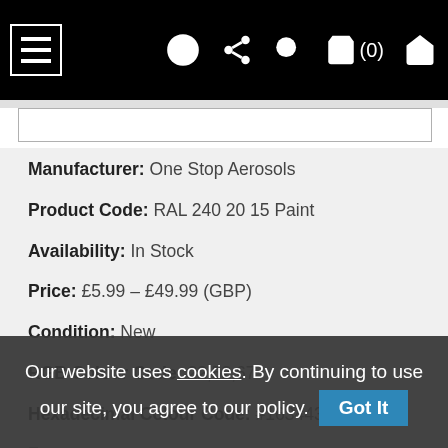Navigation bar with hamburger menu, WhatsApp, share, search, cart (0), and envelope icons
Manufacturer: One Stop Aerosols
Product Code: RAL 240 20 15 Paint
Availability: In Stock
Price: £5.99 – £49.99 (GBP)
Condition: New
RGB Colour Code: 22,52,67
Hexadecimal Colour Code: #163443
Our website uses cookies. By continuing to use our site, you agree to our policy. Got It
For use on...